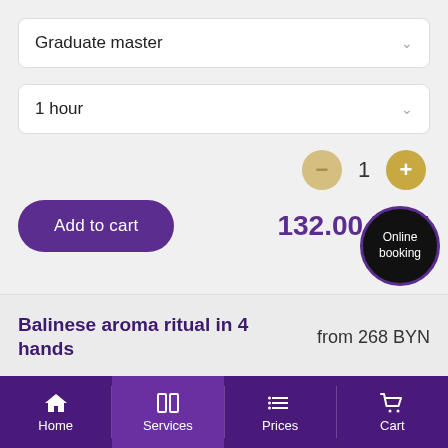Graduate master
1 hour
1
Add to cart
132.00 BYN
Online booking
Balinese aroma ritual in 4 hands
from 268 BYN
Home  Services  Prices  Cart